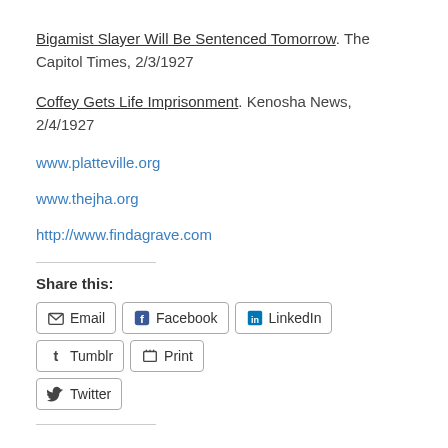Bigamist Slayer Will Be Sentenced Tomorrow. The Capitol Times, 2/3/1927
Coffey Gets Life Imprisonment. Kenosha News, 2/4/1927
www.platteville.org
www.thejha.org
http://www.findagrave.com
Share this:
Email
Facebook
LinkedIn
Tumblr
Print
Twitter